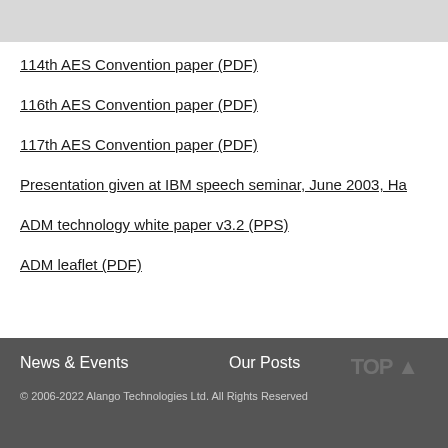114th AES Convention paper (PDF)
116th AES Convention paper (PDF)
117th AES Convention paper (PDF)
Presentation given at IBM speech seminar, June 2003, Ha...
ADM technology white paper v3.2 (PPS)
ADM leaflet (PDF)
News & Events   Our Posts
© 2006-2022 Alango Technologies Ltd. All Rights Reserved